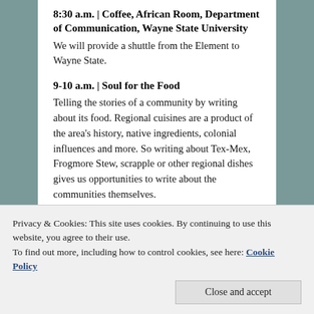8:30 a.m. | Coffee, African Room, Department of Communication, Wayne State University
We will provide a shuttle from the Element to Wayne State.
9-10 a.m. | Soul for the Food
Telling the stories of a community by writing about its food. Regional cuisines are a product of the area's history, native ingredients, colonial influences and more. So writing about Tex-Mex, Frogmore Stew, scrapple or other regional dishes gives us opportunities to write about the communities themselves.
Privacy & Cookies: This site uses cookies. By continuing to use this website, you agree to their use.
To find out more, including how to control cookies, see here: Cookie Policy